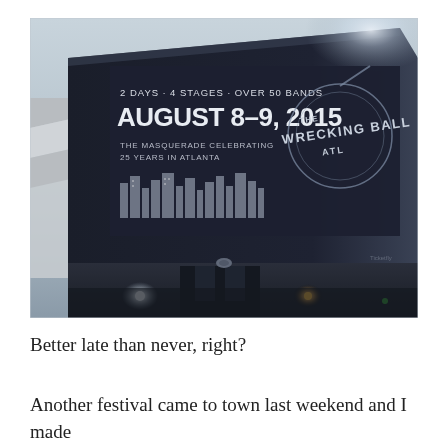[Figure (photo): Photograph of a large outdoor event stage/venue building at dusk. A prominent banner on the dark building reads: '2 DAYS - 4 STAGES - OVER 50 BANDS / AUGUST 8-9, 2015 / THE MASQUERADE CELEBRATING 25 YEARS IN ATLANTA / THE WRECKING BALL ATL' with a city skyline illustration. Lights visible at ground level, trees in background.]
Better late than never, right?
Another festival came to town last weekend and I made